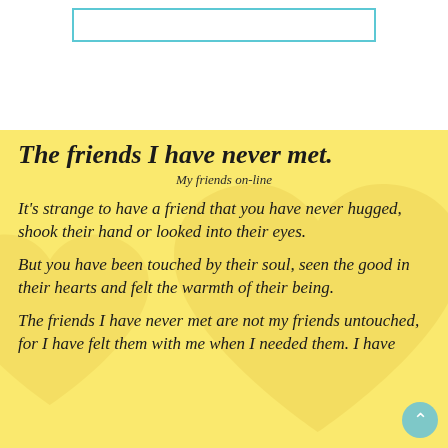The friends I have never met.
My friends on-line
It's strange to have a friend that you have never hugged, shook their hand or looked into their eyes.
But you have been touched by their soul, seen the good in their hearts and felt the warmth of their being.
The friends I have never met are not my friends untouched, for I have felt them with me when I needed them. I have